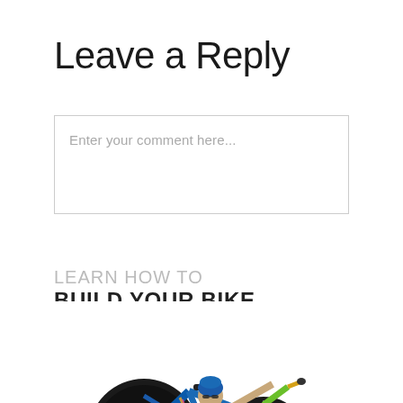Leave a Reply
Enter your comment here...
LEARN HOW TO
BUILD YOUR BIKE
[Figure (photo): A triathlete/cyclist standing and holding a racing bicycle (blue frame with colorful accents, disc rear wheel, race number 692) overhead/on shoulder. The bike appears to be a custom racing bicycle from Kane Bicycles.]